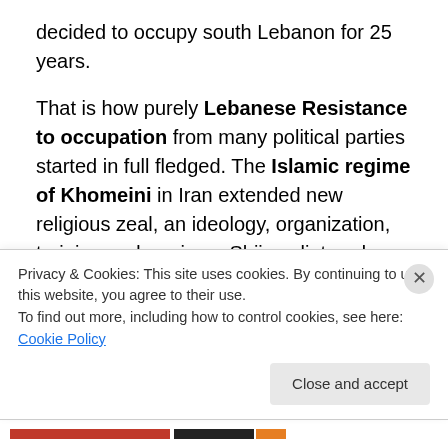decided to occupy south Lebanon for 25 years.
That is how purely Lebanese Resistance to occupation from many political parties started in full fledged. The Islamic regime of Khomeini in Iran extended new religious zeal, an ideology, organization, training and arming a Shiia splintered faction of AMAL named Hezbollah.
The tide had turned.  Israel was forced to vacate south Lebanon unilaterally in 2000.  The Lebanese returned to their villages with greater hope in the future.
Privacy & Cookies: This site uses cookies. By continuing to use this website, you agree to their use.
To find out more, including how to control cookies, see here: Cookie Policy
Close and accept